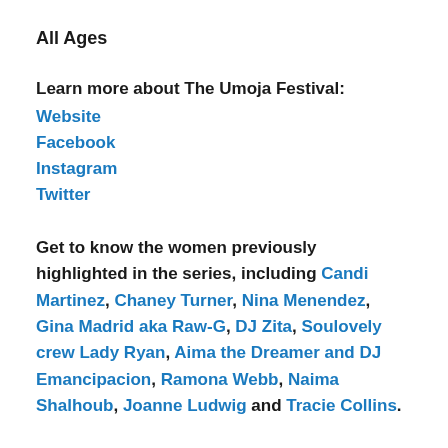All Ages
Learn more about The Umoja Festival:
Website
Facebook
Instagram
Twitter
Get to know the women previously highlighted in the series, including Candi Martinez, Chaney Turner, Nina Menendez, Gina Madrid aka Raw-G, DJ Zita, Soulovely crew Lady Ryan, Aima the Dreamer and DJ Emancipacion, Ramona Webb, Naima Shalhoub, Joanne Ludwig and Tracie Collins.